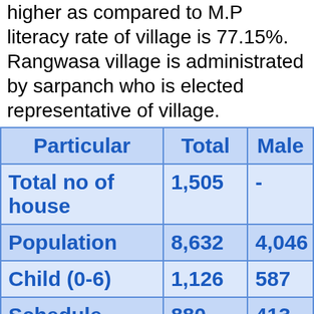higher as compared to M.P literacy rate of village is 77.15%. Rangwasa village is administrated by sarpanch who is elected representative of village.
| Particular | Total | Male |
| --- | --- | --- |
| Total no of house | 1,505 | - |
| Population | 8,632 | 4,046 |
| Child (0-6) | 1,126 | 587 |
| Schedule | 880 | 413 |